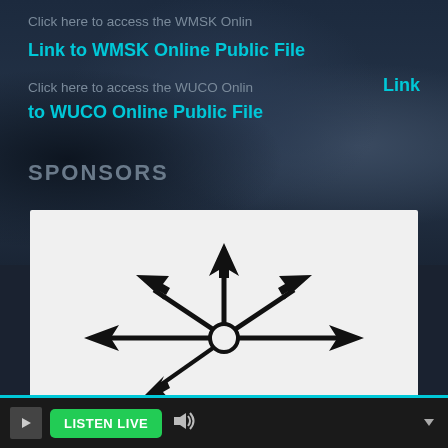Click here to access the WMSK Online
Link to WMSK Online Public File
Click here to access the WUCO Online
Link
to WUCO Online Public File
SPONSORS
[Figure (logo): Black arrow/compass star logo on white/light gray background, showing multiple arrows radiating outward from a central circle hub]
▶ LISTEN LIVE 🔊 ▼